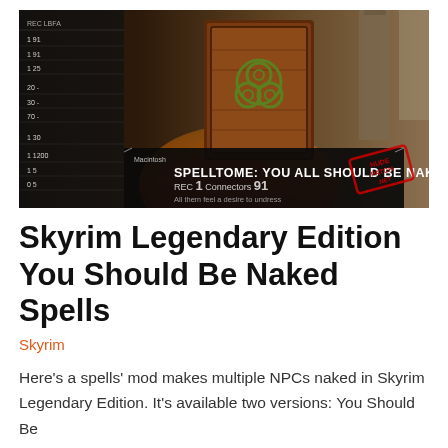[Figure (screenshot): Skyrim Legendary Edition gameplay screenshot showing a spell tome item called 'SPELLTOME: YOU ALL SHOULD BE NAKED' with stats BEC 1 and CONNECTORS 91, description 'All them feel a desire to undress', with a brown leather-bound book icon visible in the inventory UI and a nudepatch.net watermark stamp in the corner.]
Skyrim Legendary Edition You Should Be Naked Spells
Skyrim
Here's a spells' mod makes multiple NPCs naked in Skyrim Legendary Edition. It's available two versions: You Should Be